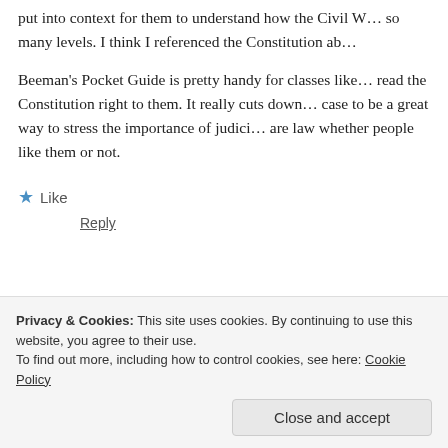put into context for them to understand how the Civil W… so many levels. I think I referenced the Constitution ab…
Beeman's Pocket Guide is pretty handy for classes like… read the Constitution right to them. It really cuts down… case to be a great way to stress the importance of judici… are law whether people like them or not.
★ Like
Reply
Christopher Shelley says:
Privacy & Cookies: This site uses cookies. By continuing to use this website, you agree to their use.
To find out more, including how to control cookies, see here: Cookie Policy
Close and accept